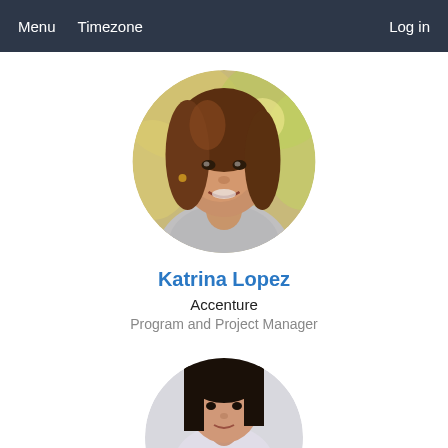Menu   Timezone                               Log in
[Figure (photo): Circular profile photo of Katrina Lopez, a woman with shoulder-length brown hair, smiling, wearing a gray fluffy sweater, outdoors with blurred green/yellow background]
Katrina Lopez
Accenture
Program and Project Manager
[Figure (photo): Partial circular profile photo of a second person (woman with dark straight hair), cropped at the bottom of the page]